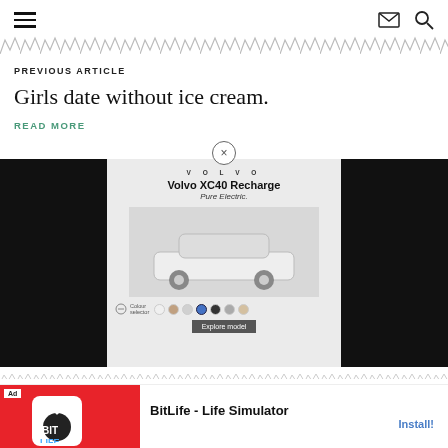Navigation header with hamburger menu, email icon, and search icon
[Figure (other): Zigzag/chevron decorative divider pattern]
PREVIOUS ARTICLE
Girls date without ice cream.
READ MORE
[Figure (screenshot): Advertisement overlay showing Volvo XC40 Recharge Pure Electric car ad with color swatches and explore button, flanked by black panels]
[Figure (other): Bottom advertisement bar: BitLife - Life Simulator app install ad with red background and Install button]